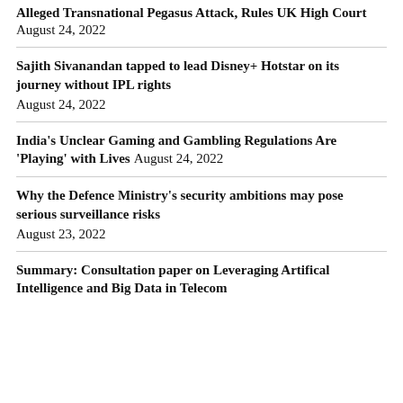Alleged Transnational Pegasus Attack, Rules UK High Court August 24, 2022
Sajith Sivanandan tapped to lead Disney+ Hotstar on its journey without IPL rights August 24, 2022
India's Unclear Gaming and Gambling Regulations Are 'Playing' with Lives August 24, 2022
Why the Defence Ministry's security ambitions may pose serious surveillance risks August 23, 2022
Summary: Consultation paper on Leveraging Artifical Intelligence and Big Data in Telecom